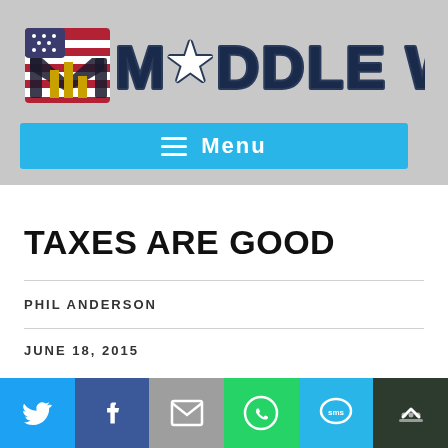[Figure (logo): Middle Wisconsin website logo with American flag-styled M icon and stylized dark blue 'MIDDLE WI' text on gray background]
[Figure (infographic): Blue menu navigation bar with hamburger icon and 'Menu' text]
TAXES ARE GOOD
PHIL ANDERSON
JUNE 18, 2015
[Figure (infographic): Social share bar with Twitter, Facebook, Email, WhatsApp, SMS, and more buttons]